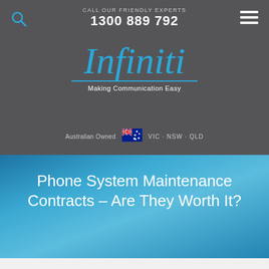CALL OUR FRIENDLY EXPERTS
1300 889 792
[Figure (logo): Infiniti logo in blue italic script with tagline 'Making Communication Easy' and underline]
Australian Owned · VIC · NSW · QLD
Phone System Maintenance Contracts – Are They Worth It?